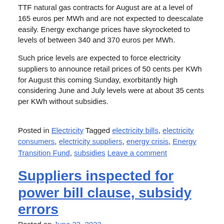TTF natural gas contracts for August are at a level of 165 euros per MWh and are not expected to deescalate easily. Energy exchange prices have skyrocketed to levels of between 340 and 370 euros per MWh.
Such price levels are expected to force electricity suppliers to announce retail prices of 50 cents per KWh for August this coming Sunday, exorbitantly high considering June and July levels were at about 35 cents per KWh without subsidies.
Posted in Electricity Tagged electricity bills, electricity consumers, electricity suppliers, energy crisis, Energy Transition Fund, subsidies Leave a comment
Suppliers inspected for power bill clause, subsidy errors
Posted on June 23, 2022
RAE, the Regulatory Authority for Energy, has given electricity retailers until the end of this month to provide detailed data concerning electricity bills issued for all customers between September 1, 2021 and May 31.
The authority has requested this information to check on tariff charges, whether...